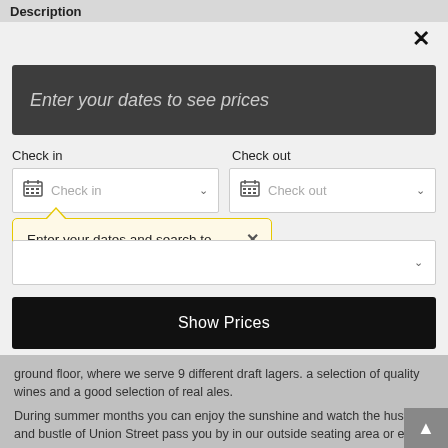Description
Enter your dates to see prices
Check in
Check out
Check in
Check out
Enter your dates and search to see prices and availability!
Show Prices
ground floor, where we serve 9 different draft lagers. a selection of quality wines and a good selection of real ales.
During summer months you can enjoy the sunshine and watch the hustle and bustle of Union Street pass you by in our outside seating area or enjoy peace and tranquility in